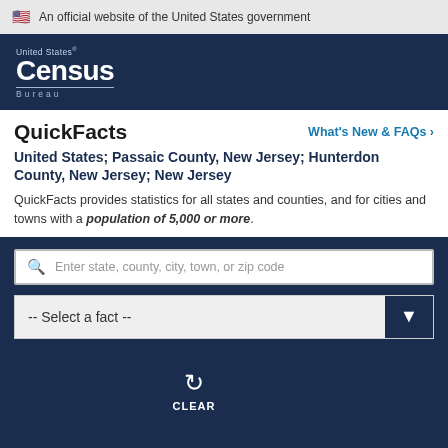🇺🇸 An official website of the United States government
[Figure (logo): United States Census Bureau logo — white text on dark navy background]
QuickFacts
What's New & FAQs >
United States; Passaic County, New Jersey; Hunterdon County, New Jersey; New Jersey
QuickFacts provides statistics for all states and counties, and for cities and towns with a population of 5,000 or more.
Enter state, county, city, town, or zip code
-- Select a fact --
CLEAR
Is this page helpful? Yes No